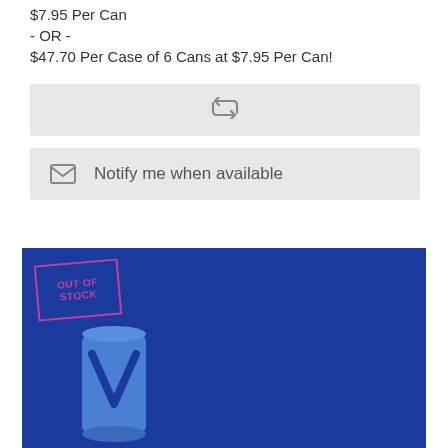$7.95 Per Can
- OR -
$47.70 Per Case of 6 Cans at $7.95 Per Can!
[Figure (other): Repeat/refresh button icon in a light gray button box]
Notify me when available
[Figure (photo): Blue background product image with an 'OUT OF STOCK' stamp in magenta/pink and a blue metallic can visible at the bottom]